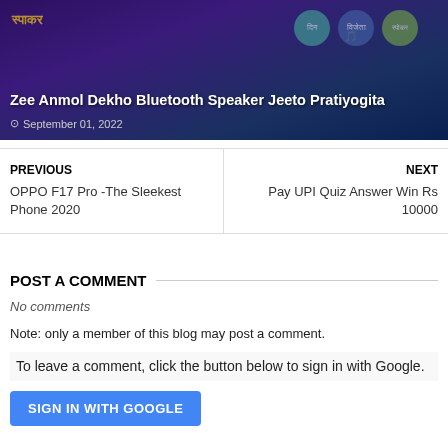[Figure (photo): Banner image for Zee Anmol Dekho Bluetooth Speaker Jeeto Pratiyogita with dark purple/blue background and circular badges]
Zee Anmol Dekho Bluetooth Speaker Jeeto Pratiyogita
September 01, 2022
PREVIOUS
OPPO F17 Pro -The Sleekest Phone 2020
NEXT
Pay UPI Quiz Answer Win Rs 10000
POST A COMMENT
No comments
Note: only a member of this blog may post a comment.
To leave a comment, click the button below to sign in with Google.
SIGN IN WITH GOOGLE